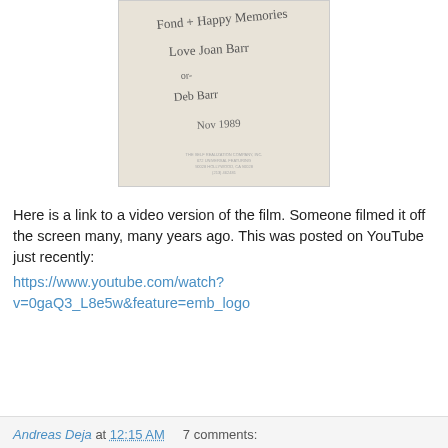[Figure (photo): Handwritten inscription on light beige/cream paper reading 'Fond + Happy Memories, Love Joan Barr' with a second signature below and 'Nov 1989' at bottom right. Small printed text at bottom center identifies 'The Self Realization Company Inc.' address in Hollywood, CA.]
Here is a link to a video version of the film. Someone filmed it off the screen many, many years ago. This was posted on YouTube just recently:
https://www.youtube.com/watch?v=0gaQ3_L8e5w&feature=emb_logo
Andreas Deja at 12:15 AM   7 comments: